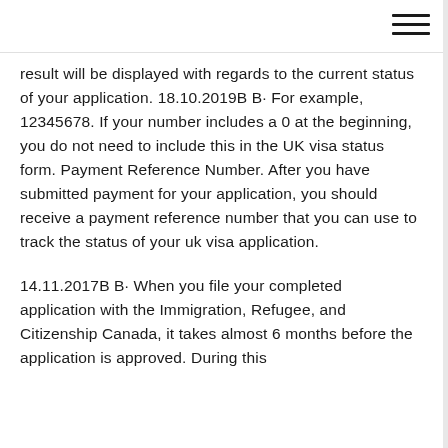result will be displayed with regards to the current status of your application. 18.10.2019B B· For example, 12345678. If your number includes a 0 at the beginning, you do not need to include this in the UK visa status form. Payment Reference Number. After you have submitted payment for your application, you should receive a payment reference number that you can use to track the status of your uk visa application.
14.11.2017B B· When you file your completed application with the Immigration, Refugee, and Citizenship Canada, it takes almost 6 months before the application is approved. During this